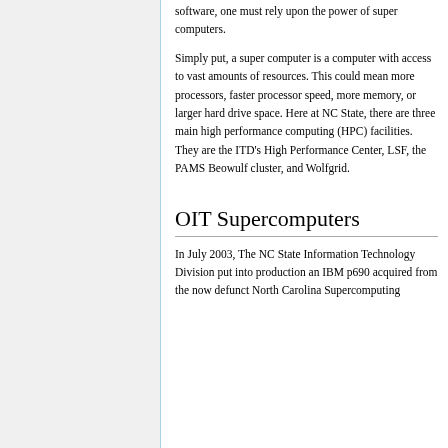software, one must rely upon the power of super computers.
Simply put, a super computer is a computer with access to vast amounts of resources. This could mean more processors, faster processor speed, more memory, or larger hard drive space. Here at NC State, there are three main high performance computing (HPC) facilities. They are the ITD's High Performance Center, LSF, the PAMS Beowulf cluster, and Wolfgrid.
OIT Supercomputers
In July 2003, The NC State Information Technology Division put into production an IBM p690 acquired from the now defunct North Carolina Supercomputing